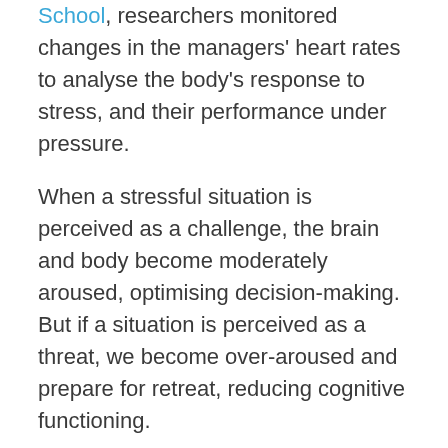School, researchers monitored changes in the managers' heart rates to analyse the body's response to stress, and their performance under pressure.
When a stressful situation is perceived as a challenge, the brain and body become moderately aroused, optimising decision-making. But if a situation is perceived as a threat, we become over-aroused and prepare for retreat, reducing cognitive functioning.
“You won’t learn the most important elements of being a leader by reading a